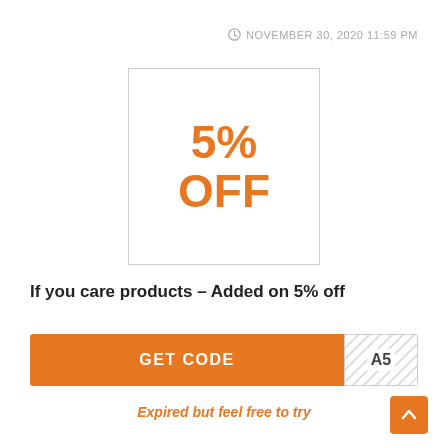NOVEMBER 30, 2020 11:59 PM
[Figure (other): Coupon badge showing 5% OFF in large orange bold text inside a bordered white box]
If you care products – Added on 5% off
GET CODE  A5
Expired but feel free to try